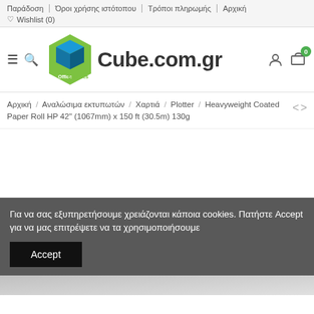Παράδοση | Όροι χρήσης ιστότοπου | Τρόποι πληρωμής | Αρχική | ♡ Wishlist (0)
[Figure (logo): Cube.com.gr logo with a green and blue 3D cube icon labeled Office Supplies, and the text Cube.com.gr in bold dark letters]
Αρχική / Αναλώσιμα εκτυπωτών / Χαρτιά / Plotter / Heavyweight Coated Paper Roll HP 42" (1067mm) x 150 ft (30.5m) 130g
Για να σας εξυπηρετήσουμε χρειάζονται κάποια cookies. Πατήστε Accept για να μας επιτρέψετε να τα χρησιμοποιήσουμε
Accept